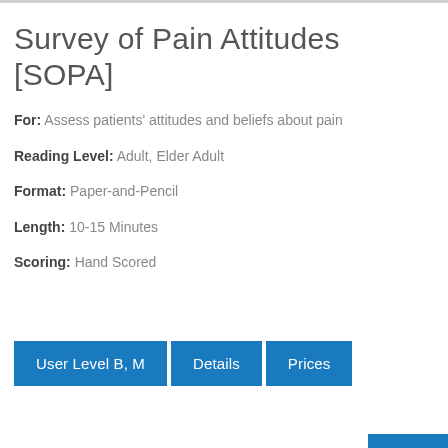Survey of Pain Attitudes [SOPA]
For: Assess patients' attitudes and beliefs about pain
Reading Level: Adult, Elder Adult
Format: Paper-and-Pencil
Length: 10-15 Minutes
Scoring: Hand Scored
User Level B, M | Details | Prices